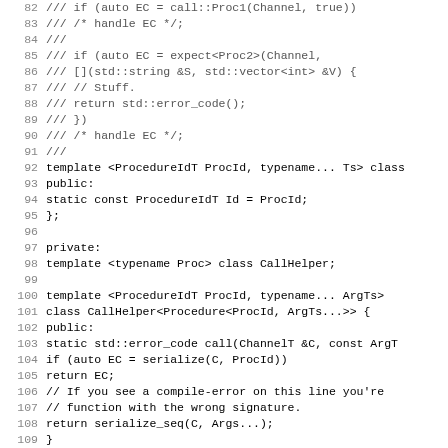[Figure (screenshot): Source code listing in C++ showing lines 82 through 114, with line numbers on the left. The code shows commented-out code (using ///) for handling EC with expect<Proc2>, and then a template class Procedure with ProcId and Ts type parameters. Lines 97 onward show private section with CallHelper template class specialization for Procedure<ProcId, ArgTs...>, including a static call method with serialize and serialize_seq calls, plus a HandlerHelper template class forward declaration.]